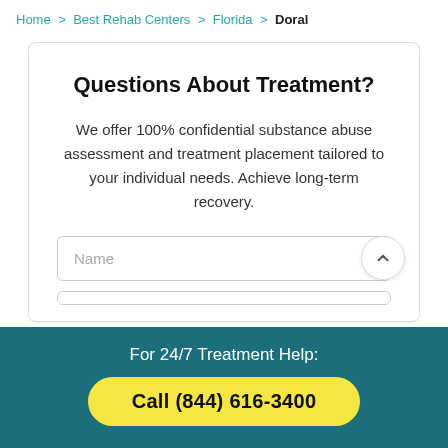Home > Best Rehab Centers > Florida > Doral
Questions About Treatment?
We offer 100% confidential substance abuse assessment and treatment placement tailored to your individual needs. Achieve long-term recovery.
Name
For 24/7 Treatment Help:
Call (844) 616-3400